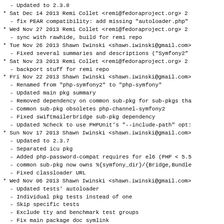- Updated to 2.3.8
* Sat Dec 14 2013 Remi Collet <remi@fedoraproject.org> 2
- fix PEAR compatibility: add missing "autoloader.php"
* Wed Nov 27 2013 Remi Collet <remi@fedoraproject.org> 2
- sync with rawhide, build for remi repo
* Tue Nov 26 2013 Shawn Iwinski <shawn.iwinski@gmail.com>
- Fixed several summaries and descriptions ("Symfony2"
* Sat Nov 23 2013 Remi Collet <remi@fedoraproject.org> 2
- backport stuff for remi repo
* Fri Nov 22 2013 Shawn Iwinski <shawn.iwinski@gmail.com>
- Renamed from "php-symfony2" to "php-symfony"
- Updated main pkg summary
- Removed dependency on common sub-pkg for sub-pkgs tha
- Common sub-pkg obsoletes php-channel-symfony2
- Fixed swiftmailerbridge sub-pkg dependency
- Updated %check to use PHPUnit's "--include-path" opt:
* Sun Nov 17 2013 Shawn Iwinski <shawn.iwinski@gmail.com>
- Updated to 2.3.7
- Separated icu pkg
- Added php-password-compat requires for el6 (PHP < 5.5
- common sub-pkg now owns %{symfony_dir}/{Bridge,Bundle
- Fixed classloader URL
* Wed Nov 06 2013 Shawn Iwinski <shawn.iwinski@gmail.com>
- Updated tests' autoloader
- Individual pkg tests instead of one
- Skip specific tests
- Exclude tty and benchmark test groups
- Fix main package doc symlink
* Mon Oct 21 2013 Shawn Iwinski <shawn.iwinski@gmail.com>
- Updated to 2.3.6